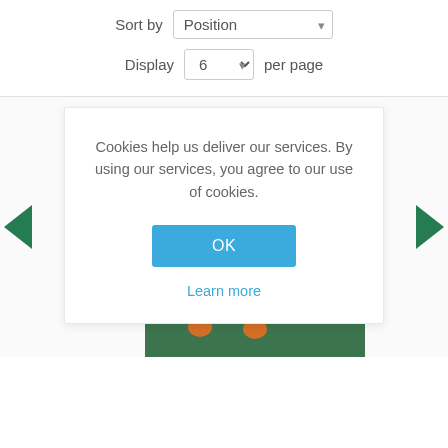Sort by  Position
Display  6  per page
Cookies help us deliver our services. By using our services, you agree to our use of cookies.
OK
Learn more
[Figure (screenshot): Product image showing colorful children's clothing with forest animals pattern (bunnies, deer, squirrels among trees). Navigation arrows on left and right sides.]